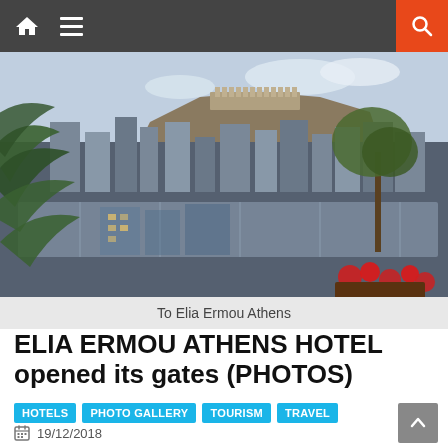Navigation bar with home, menu, search icons
[Figure (photo): Rooftop view of Athens with Acropolis in the background, palm leaves and olive tree in foreground, glass railing visible]
To Elia Ermou Athens
ELIA ERMOU ATHENS HOTEL opened its gates (PHOTOS)
HOTELS
PHOTO GALLERY
TOURISM
TRAVEL
19/12/2018
Elia Ermou Athens Hotel opened its gates, starting operating today, on 15 Ermou Street, in Syntagma